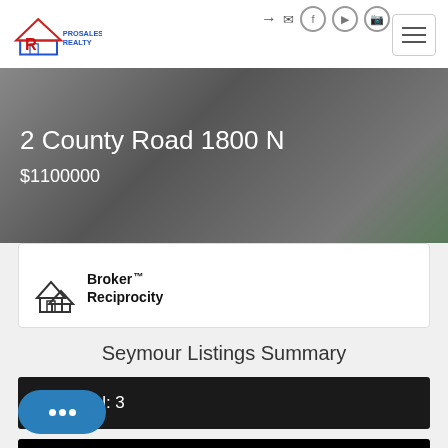[Figure (logo): ProSales Realty logo with house outline and letter R]
2 County Road 1800 N
$1100000
[Figure (logo): Broker Reciprocity logo with house icons]
Seymour Listings Summary
Total: 3
New: 0